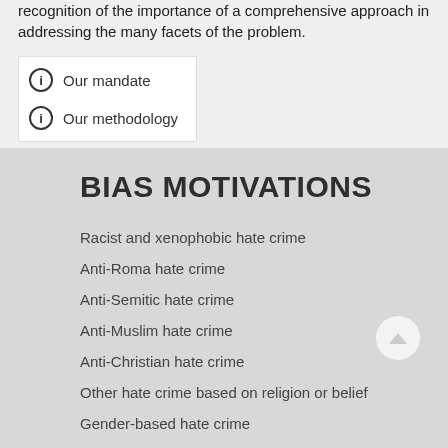recognition of the importance of a comprehensive approach in addressing the many facets of the problem.
Our mandate
Our methodology
BIAS MOTIVATIONS
Racist and xenophobic hate crime
Anti-Roma hate crime
Anti-Semitic hate crime
Anti-Muslim hate crime
Anti-Christian hate crime
Other hate crime based on religion or belief
Gender-based hate crime